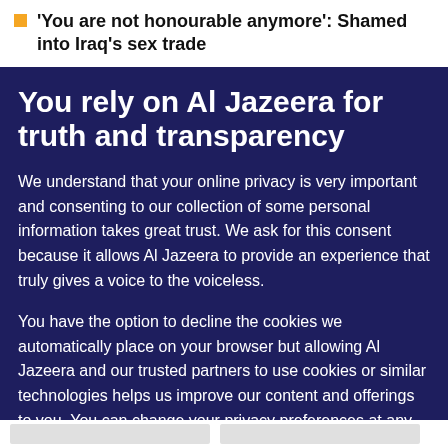'You are not honourable anymore': Shamed into Iraq's sex trade
You rely on Al Jazeera for truth and transparency
We understand that your online privacy is very important and consenting to our collection of some personal information takes great trust. We ask for this consent because it allows Al Jazeera to provide an experience that truly gives a voice to the voiceless.
You have the option to decline the cookies we automatically place on your browser but allowing Al Jazeera and our trusted partners to use cookies or similar technologies helps us improve our content and offerings to you. You can change your privacy preferences at any time by selecting 'Cookie preferences' at the bottom of your screen. To learn more, please view our Cookie Policy.